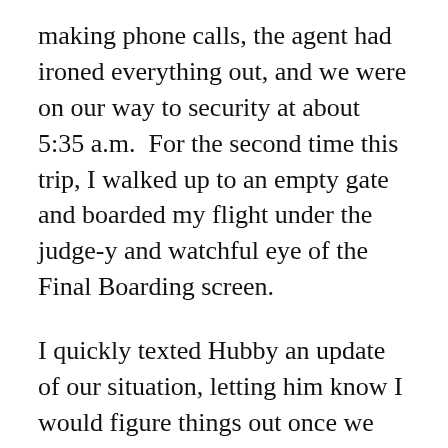making phone calls, the agent had ironed everything out, and we were on our way to security at about 5:35 a.m.  For the second time this trip, I walked up to an empty gate and boarded my flight under the judge-y and watchful eye of the Final Boarding screen.
I quickly texted Hubby an update of our situation, letting him know I would figure things out once we got to Newark.  Then I put away my phone and hunkered down for our five hour flight.
The flight went by quickly.  K-Man was